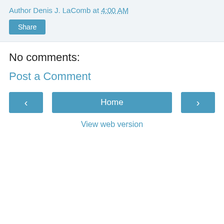Author Denis J. LaComb at 4:00 AM
Share
No comments:
Post a Comment
‹
Home
›
View web version